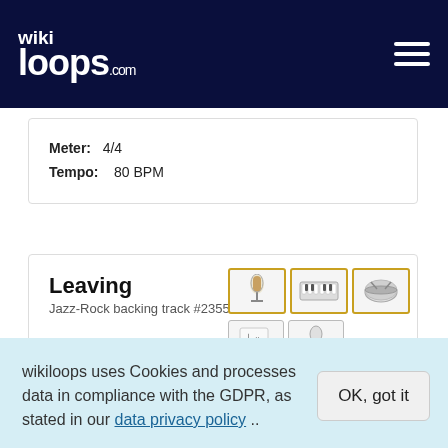wikiloops.com
Meter: 4/4
Tempo: 80 BPM
Leaving
Jazz-Rock backing track #235547
[Figure (illustration): Three instrument icon thumbnails in gold-bordered boxes: microphone, keyboard/synthesizer, drums. Below: two plain-bordered boxes with sheet music notation icon and microphone icon.]
Meter: 4/4
Tempo: 105 BPM
Musical key: G minor
wikiloops uses Cookies and processes data in compliance with the GDPR, as stated in our data privacy policy ..